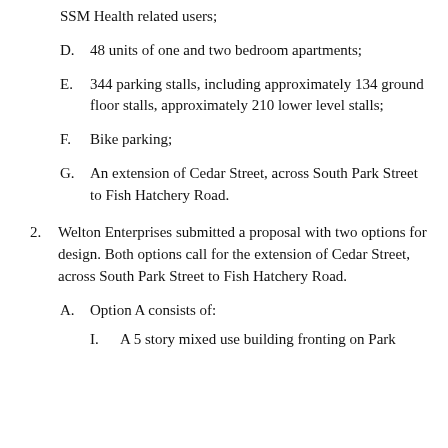SSM Health related users;
D. 48 units of one and two bedroom apartments;
E. 344 parking stalls, including approximately 134 ground floor stalls, approximately 210 lower level stalls;
F. Bike parking;
G. An extension of Cedar Street, across South Park Street to Fish Hatchery Road.
2. Welton Enterprises submitted a proposal with two options for design. Both options call for the extension of Cedar Street, across South Park Street to Fish Hatchery Road.
A. Option A consists of:
I. A 5 story mixed use building fronting on Park